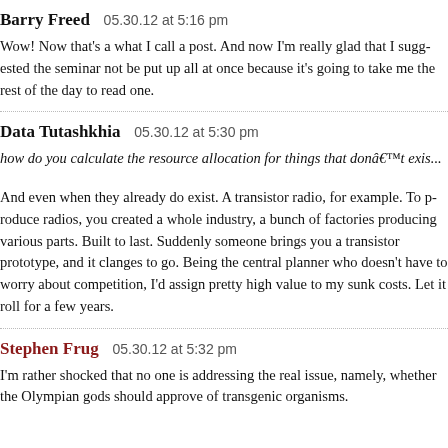Barry Freed   05.30.12 at 5:16 pm
Wow! Now that's a what I call a post. And now I'm really glad that I suggested the seminar not be put up all at once because it's going to take me the rest of the day to read one.
Data Tutashkhia   05.30.12 at 5:30 pm
how do you calculate the resource allocation for things that don't exist
And even when they already do exist. A transistor radio, for example. To produce radios, you created a whole industry, a bunch of factories producing various parts. Built to last. Suddenly someone brings you a transistor prototype, and it changes to go. Being the central planner who doesn't have to worry about competition, I'd assign pretty high value to my sunk costs. Let it roll for a few years.
Stephen Frug   05.30.12 at 5:32 pm
I'm rather shocked that no one is addressing the real issue, namely, whether the Olympian gods should approve of transgenic organisms.